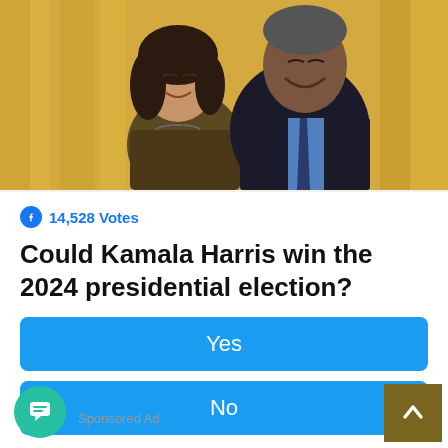[Figure (photo): Two people smiling together in front of yellow curtains — a woman in a brown jacket with a pearl necklace and a man in a dark suit with a blue shirt and tie]
14,528 Votes
Could Kamala Harris win the 2024 presidential election?
Yes
No
Sponsored Ad